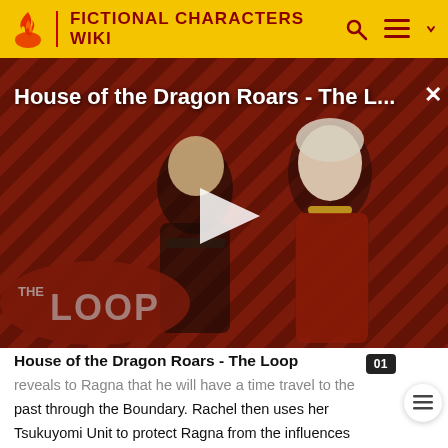FICTIONAL CHARACTERS WIKI
[Figure (screenshot): Video thumbnail for 'House of the Dragon Roars - The L...' showing two characters from the show against a red diagonal striped background, with a play button in the center and 'THE LOOP' badge in the lower left corner.]
House of the Dragon Roars - The Loop
reveals to Ragna that he will have a time travel to the past through the Boundary. Rachel then uses her Tsukuyomi Unit to protect Ragna from the influences within the Boundary. Ragna then goes into the Cauldron to